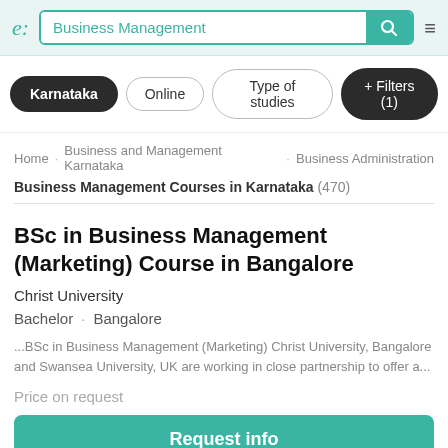[Figure (screenshot): Website header with logo 'e:', search bar containing 'Business Management', teal search button, and hamburger menu icon]
[Figure (screenshot): Filter buttons row: 'Karnataka' (dark filled), 'Online' (outline), 'Type of studies' (outline), '+ Filters (1)' (dark filled)]
Home · Business and Management Karnataka · Business Administration
Business Management Courses in Karnataka (470)
BSc in Business Management (Marketing) Course in Bangalore
Christ University
Bachelor · Bangalore
...BSc in Business Management (Marketing) Christ University, Bangalore and Swansea University, UK are working in close partnership to offer a...
Price on request
Request info